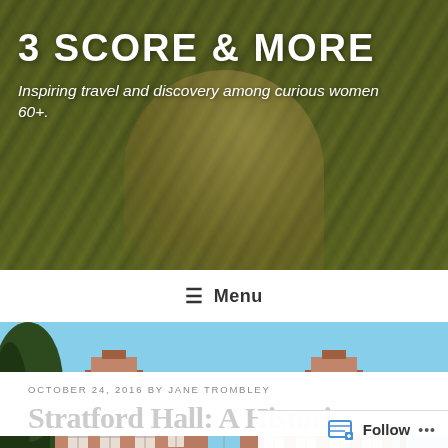3 SCORE & MORE
Inspiring travel and discovery among curious women 60+.
☰ Menu
[Figure (photo): Historic two-story brick colonial building with two bell-tower chimneys, white-trimmed windows, central entrance with steps, set on a green lawn under a clear blue sky with trees on either side]
OCTOBER 24, 2016 BY JANE TROMBLEY
Stratford Hall: A Historic...
Follow